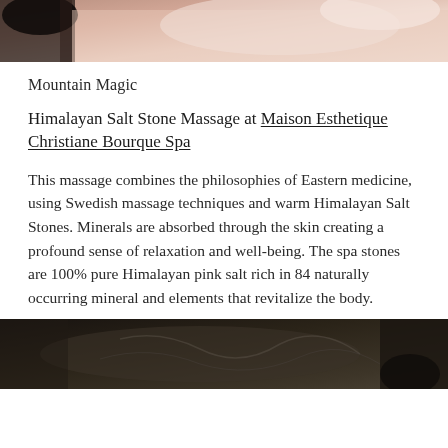[Figure (photo): Top portion of a spa/massage photo, showing skin and a dark object, cropped at top of page]
Mountain Magic
Himalayan Salt Stone Massage at Maison Esthetique Christiane Bourque Spa
This massage combines the philosophies of Eastern medicine, using Swedish massage techniques and warm Himalayan Salt Stones. Minerals are absorbed through the skin creating a profound sense of relaxation and well-being. The spa stones are 100% pure Himalayan pink salt rich in 84 naturally occurring mineral and elements that revitalize the body.
[Figure (photo): Bottom portion of a spa interior photo, dark tones with decorative elements visible, cropped at bottom of page]